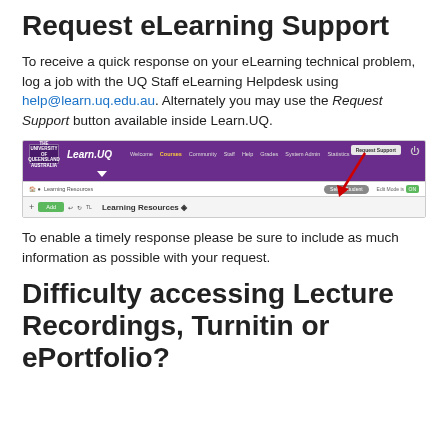Request eLearning Support
To receive a quick response on your eLearning technical problem, log a job with the UQ Staff eLearning Helpdesk using help@learn.uq.edu.au. Alternately you may use the Request Support button available inside Learn.UQ.
[Figure (screenshot): Screenshot of the Learn.UQ university eLearning platform showing the navigation bar with a red arrow pointing to the 'Request Support' button in the top-right corner, and a 'Learning Resources' page below.]
To enable a timely response please be sure to include as much information as possible with your request.
Difficulty accessing Lecture Recordings, Turnitin or ePortfolio?